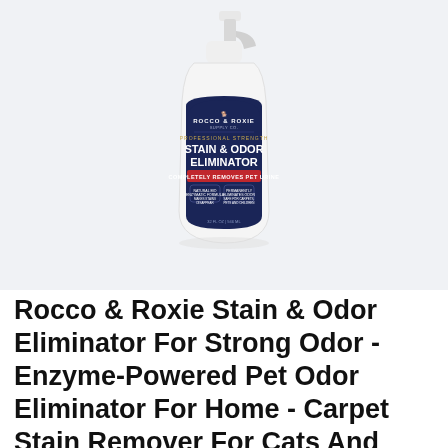[Figure (photo): Product photo of Rocco & Roxie Supply Co. Professional Strength Stain & Odor Eliminator spray bottle with dark navy label, white cap, against a light gray background.]
Rocco & Roxie Stain & Odor Eliminator For Strong Odor - Enzyme-Powered Pet Odor Eliminator For Home - Carpet Stain Remover For Cats And Dog Pee - Enzymatic Cat Urine Destroyer - Carpet Cleaner Spray